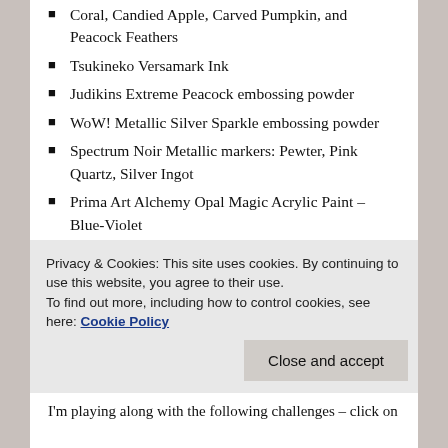Coral, Candied Apple, Carved Pumpkin, and Peacock Feathers
Tsukineko Versamark Ink
Judikins Extreme Peacock embossing powder
WoW! Metallic Silver Sparkle embossing powder
Spectrum Noir Metallic markers: Pewter, Pink Quartz, Silver Ingot
Prima Art Alchemy Opal Magic Acrylic Paint – Blue-Violet
Recollections 110# cardstock & 65# white and black cardstock
Worldwide Papers Caribbean Colors – Ocean cardstock
The Fine Touch gold poster board (the outer shell pattern)
Privacy & Cookies: This site uses cookies. By continuing to use this website, you agree to their use.
To find out more, including how to control cookies, see here: Cookie Policy
Close and accept
I'm playing along with the following challenges – click on